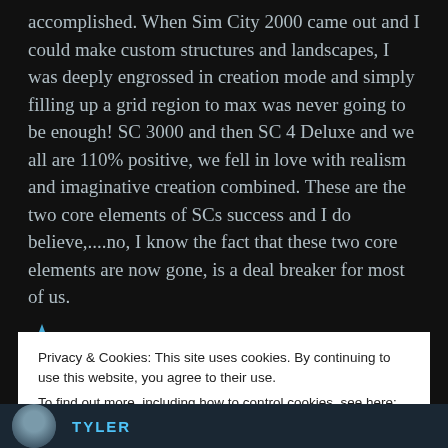accomplished. When Sim City 2000 came out and I could make custom structures and landscapes, I was deeply engrossed in creation mode and simply filling up a grid region to max was never going to be enough! SC 3000 and then SC 4 Deluxe and we all are 110% positive, we fell in love with realism and imaginative creation combined. These are the two core elements of SCs success and I do believe,....no, I know the fact that these two core elements are now gone, is a deal breaker for most of us.
Privacy & Cookies: This site uses cookies. By continuing to use this website, you agree to their use. To find out more, including how to control cookies, see here: Cookie Policy
Close and accept
TYLER